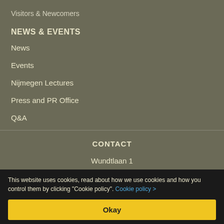Visitors & Newcomers
NEWS & EVENTS
News
Events
Nijmegen Lectures
Press and PR Office
Q&A
CONTACT
Wundtlaan 1
6525 XD Nijmegen
The Netherlands
This website uses cookies, read about how we use cookies and how you control them by clicking "Cookie policy". Cookie policy >
Okay